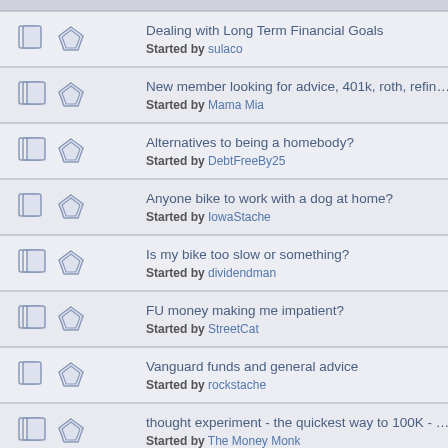Dealing with Long Term Financial Goals — Started by sulaco
New member looking for advice, 401k, roth, refinance, where to pu savings...? — Started by Mama Mia
Alternatives to being a homebody? — Started by DebtFreeBy25
Anyone bike to work with a dog at home? — Started by IowaStache
Is my bike too slow or something? — Started by dividendman
FU money making me impatient? — Started by StreetCat
Vanguard funds and general advice — Started by rockstache
thought experiment - the quickest way to 100K - What do you think — Started by The Money Monk
To mustache not to mustache: six month no-interest loan for wisdo teeth removal